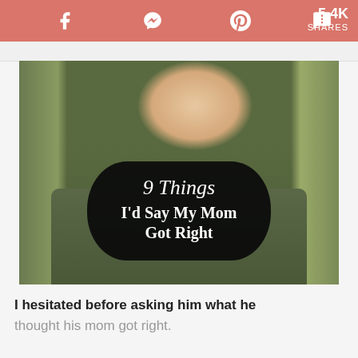5.4K SHARES — social sharing bar with Facebook, Messenger, Pinterest, SMS icons
[Figure (photo): Young smiling man in military/olive jacket standing outdoors near trees, holding or wearing a dark rounded chalkboard-style sign reading '9 Things I'd Say My Mom Got Right']
I hesitated before asking him what he thought his mom got right.